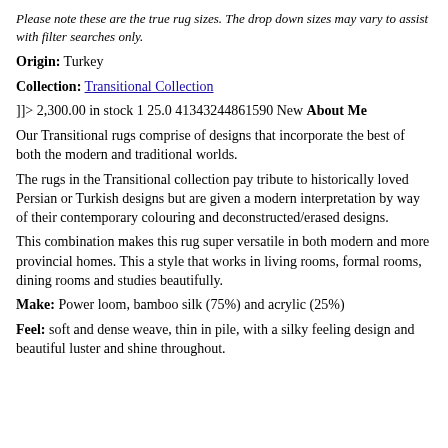Please note these are the true rug sizes. The drop down sizes may vary to assist with filter searches only.
Origin: Turkey
Collection: Transitional Collection
]]> 2,300.00 in stock 1 25.0 41343244861590 New About Me
Our Transitional rugs comprise of designs that incorporate the best of both the modern and traditional worlds.
The rugs in the Transitional collection pay tribute to historically loved Persian or Turkish designs but are given a modern interpretation by way of their contemporary colouring and deconstructed/erased designs.
This combination makes this rug super versatile in both modern and more provincial homes. This a style that works in living rooms, formal rooms, dining rooms and studies beautifully.
Make: Power loom, bamboo silk (75%) and acrylic (25%)
Feel: soft and dense weave, thin in pile, with a silky feeling design and beautiful luster and shine throughout.